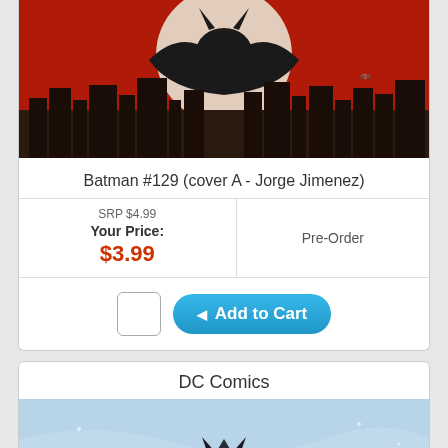[Figure (illustration): Batman #129 comic book cover art - dark silhouette of Batman against a red background with cityscape and large Batman symbol]
Batman #129 (cover A - Jorge Jimenez)
SRP $4.99
Your Price:
$3.99
Pre-Order
Add to Cart
DC Comics
[Figure (illustration): Batman comic cover art - Batman figure against a light blue sky background with flowing cape]